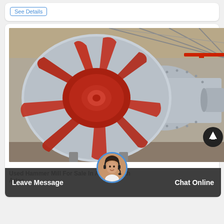See Details
[Figure (photo): Large industrial axial fan or blower with red impeller blades and grey metal casing, photographed in a factory/warehouse setting. The fan has multiple curved red blades visible from the front, and a conical grey duct extending rearward. Industrial overhead crane visible in background.]
Leave Message
Chat Online
Used Hammer Mill For Sale In Africa South Africa Artec